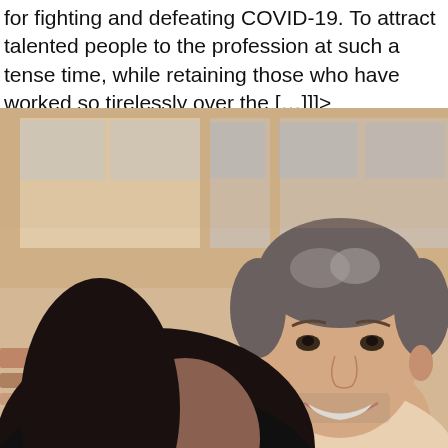for fighting and defeating COVID-19. To attract talented people to the profession at such a tense time, while retaining those who have worked so tirelessly over the […]]]>
[Figure (photo): A smiling man with salt-and-pepper hair and stubble, and a woman with dark hair in the foreground, seated outdoors with a blurred background of architectural elements in warm tones.]